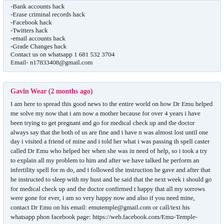-Bank accounts hack
-Erase criminal records hack
-Facebook hack
-Twitters hack
-email accounts hack
-Grade Changes hack
Contact us on whatsapp 1 681 532 3704
Email- n17833408@gmail.com
Gavin Wear (2 months ago)
I am here to spread this good news to the entire world on how Dr Emu helped me solve my now that i am now a mother because for over 4 years i have been trying to get pregnant and go for medical check up and the doctor always say that the both of us are fine and i have n was almost lost until one day i visited a friend of mine and i told her what i was passing th spell caster called Dr Emu who helped her when she was in need of help, so i took a try to explain all my problem to him and after we have talked he perform an infertility spell for m do, and i followed the instruction he gave and after that he instructed to sleep with my hust and he said that the next week i should go for medical check up and the doctor confirmed t happy that all my sorrows were gone for ever, i am so very happy now and also if you need mine, contact Dr Emu on his email: emutemple@gmail.com or call/text his whatsapp pho facebook page: https://web.facebook.com/Emu-Temple- 104891335203341
MORGAN (2 months ago)
Oral herpes is a bothering virus, but overcoming is possible.I was diagnosed with genital he